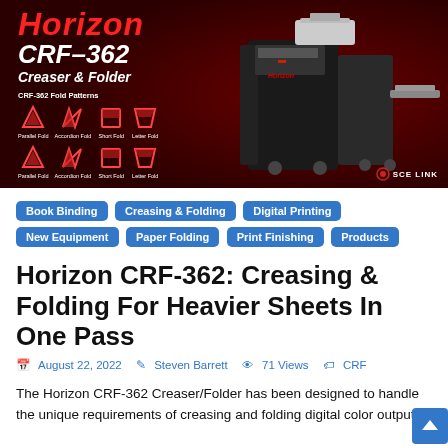[Figure (photo): Horizon CRF-362 Creaser & Folder product advertisement image on dark red background showing the machine on the right and fold pattern icons on the left with brand name.]
Book Binding
Creasing & Folding
Digital Printing
New Equipment
Paper Folding
Print Finishing
Products
Horizon CRF-362: Creasing & Folding For Heavier Sheets In One Pass
August 22, 2022   Steven Barrett   71 Views   CRF
The Horizon CRF-362 Creaser/Folder has been designed to handle the unique requirements of creasing and folding digital color output.